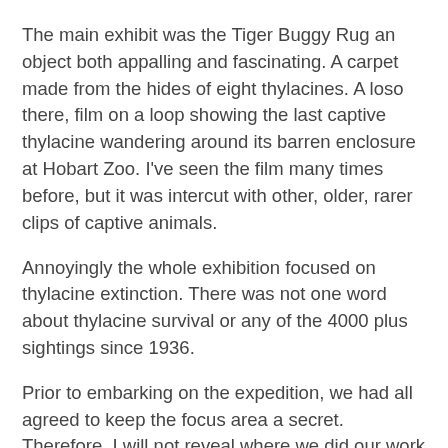The main exhibit was the Tiger Buggy Rug an object both appalling and fascinating. A carpet made from the hides of eight thylacines. A loso there, film on a loop showing the last captive thylacine wandering around its barren enclosure at Hobart Zoo. I've seen the film many times before, but it was intercut with other, older, rarer clips of captive animals.
Annoyingly the whole exhibition focused on thylacine extinction. There was not one word about thylacine survival or any of the 4000 plus sightings since 1936.
Prior to embarking on the expedition, we had all agreed to keep the focus area a secret. Therefore, I will not reveal where we did our work other than that it was in the North East of the Island.
On the way we saw much wildlife including another echidna and the ubiquitous Tasmanian native hen (Tribonyx mortierii). The birds, that are actually flightless rails are found just about anywhere there is water. Our campsite was a small affair off an old logging road. There